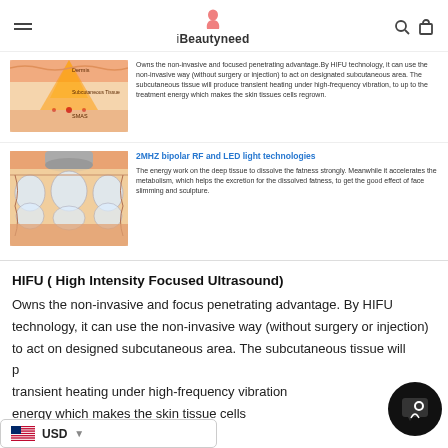iBeautyneed
[Figure (illustration): Cross-section skin diagram showing Dermis, Subcutaneous Tissue, and SMAS layers with HIFU focused energy beams]
Owns the non-invasive and focused penetrating advantage.By HIFU technology, it can use the non-invasive way (without surgery or injection) to act on designated subcutaneous area. The subcutaneous tissue will produce transient heating under high-frequency vibration, to up to the treatment energy which makes the skin tissues cells regrown.
[Figure (illustration): Cross-section illustration showing RF energy device treating subcutaneous fat cells]
2MHZ bipolar RF and LED light technologies
The energy work on the deep tissue to dissolve the fatness strongly. Meanwhile it accelerates the metabolism, which helps the excretion for the dissolved fatness, to get the good effect of face slimming and sculpture.
HIFU ( High Intensity Focused Ultrasound)
Owns the non-invasive and focus penetrating advantage. By HIFU technology, it can use the non-invasive way (without surgery or injection) to act on designed subcutaneous area. The subcutaneous tissue will produce transient heating under high-frequency vibration, to up to the treatment energy which makes the skin tissue cells regrown.